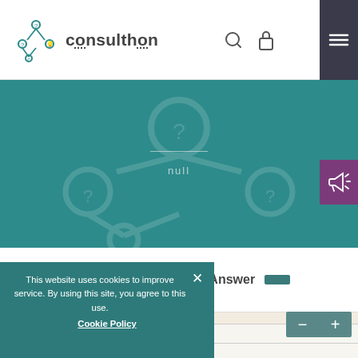[Figure (logo): Consulthon logo with teal branching icon and text]
[Figure (illustration): Teal hero banner with watermark consulthon icon, horizontal line and 'null' text]
[Figure (other): Purple tab with megaphone icon on right side]
Share   Answer
[Figure (other): Beige/cream horizontal bar separator]
This website uses cookies to improve service. By using this site, you agree to this use. Cookie Policy
[Figure (other): Plus and minus buttons, grey-teal background]